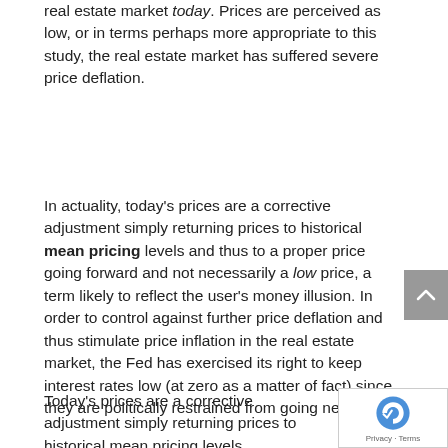real estate market today. Prices are perceived as low, or in terms perhaps more appropriate to this study, the real estate market has suffered severe price deflation.
In actuality, today's prices are a corrective adjustment simply returning prices to historical mean pricing levels and thus to a proper price going forward and not necessarily a low price, a term likely to reflect the user's money illusion. In order to control against further price deflation and thus stimulate price inflation in the real estate market, the Fed has exercised its right to keep interest rates low (at zero as a matter of fact) since they are politically restrained from going negative.
Today's prices are a corrective adjustment simply returning prices to historical mean pricing levels.